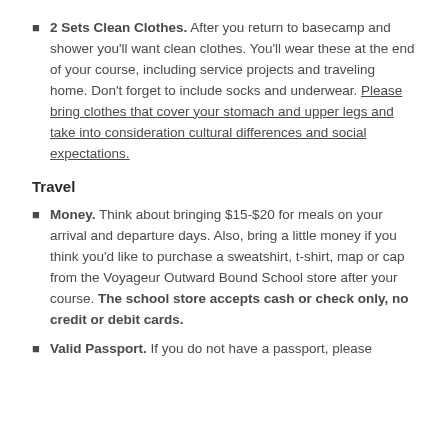2 Sets Clean Clothes. After you return to basecamp and shower you'll want clean clothes. You'll wear these at the end of your course, including service projects and traveling home. Don't forget to include socks and underwear. Please bring clothes that cover your stomach and upper legs and take into consideration cultural differences and social expectations.
Travel
Money. Think about bringing $15-$20 for meals on your arrival and departure days. Also, bring a little money if you think you'd like to purchase a sweatshirt, t-shirt, map or cap from the Voyageur Outward Bound School store after your course. The school store accepts cash or check only, no credit or debit cards.
Valid Passport. If you do not have a passport, please